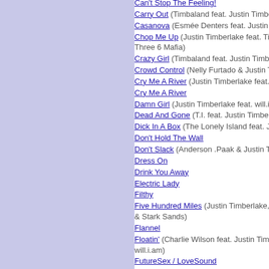Can't Stop The Feeling!
Carry Out (Timbaland feat. Justin Timberlake)
Casanova (Esmée Denters feat. Justin Timberlake)
Chop Me Up (Justin Timberlake feat. Timbaland and Three 6 Mafia)
Crazy Girl (Timbaland feat. Justin Timberlake)
Crowd Control (Nelly Furtado & Justin Timberlake)
Cry Me A River (Justin Timberlake feat. 50 Cent)
Cry Me A River
Damn Girl (Justin Timberlake feat. will.i.am)
Dead And Gone (T.I. feat. Justin Timberlake)
Dick In A Box (The Lonely Island feat. Justin Timberlake)
Don't Hold The Wall
Don't Slack (Anderson .Paak & Justin Timberlake)
Dress On
Drink You Away
Electric Lady
Filthy
Five Hundred Miles (Justin Timberlake, Carey Mulligan & Stark Sands)
Flannel
Floatin' (Charlie Wilson feat. Justin Timberlake & will.i.am)
FutureSex / LoveSound
Gimme What I Don't Know (I Want)
Give It To Me (Timbaland feat. Nelly Furtado & Justin Timberlake)
Good Foot (Justin Timberlake and Timbaland)
Hair Up (Justin Timberlake, Gwen Stefani & Ron Funches)
Hallelujah (Justin Timberlake & Matt Morris feat. Charlie Sexton)
Headsprung (Keri Hilson feat. Justin Timberlake)
Higher Higher
Hole In My Head (Rihanna feat. Justin Timberlake)
Holy Grail (Jay-Z feat. Justin Timberlake)
Hootnanny